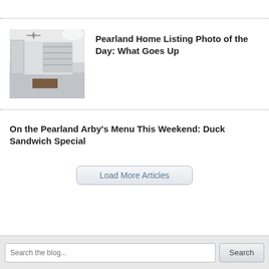[Figure (photo): Interior room photo showing ceiling fan, shelving, and hardwood floor mat]
Pearland Home Listing Photo of the Day: What Goes Up
On the Pearland Arby’s Menu This Weekend: Duck Sandwich Special
Load More Articles
Search the blog...